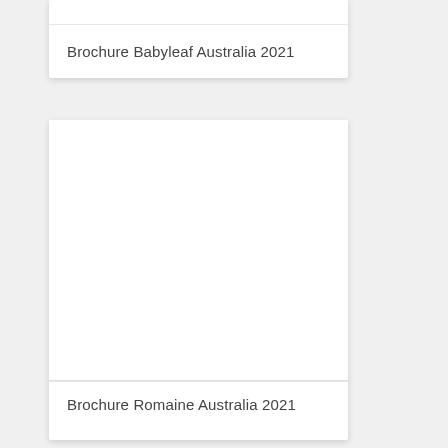Brochure Babyleaf Australia 2021
[Figure (other): Blank white card image area for Brochure Romaine Australia 2021]
Brochure Romaine Australia 2021
[Figure (other): Partially visible blank white card image area at bottom of page]